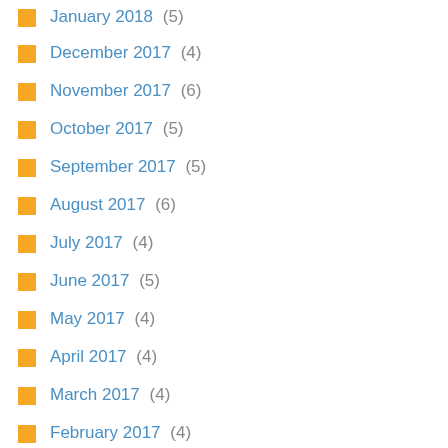January 2018 (5)
December 2017 (4)
November 2017 (6)
October 2017 (5)
September 2017 (5)
August 2017 (6)
July 2017 (4)
June 2017 (5)
May 2017 (4)
April 2017 (4)
March 2017 (4)
February 2017 (4)
January 2017 (4)
December 2016 (4)